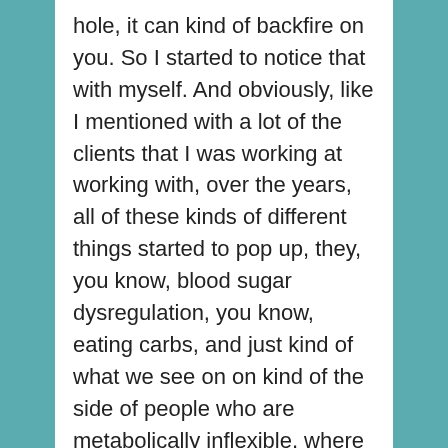hole, it can kind of backfire on you. So I started to notice that with myself. And obviously, like I mentioned with a lot of the clients that I was working at working with, over the years, all of these kinds of different things started to pop up, they, you know, blood sugar dysregulation, you know, eating carbs, and just kind of what we see on on kind of the side of people who are metabolically inflexible, where they've been using carbs for a long time, and they, they may have some insulin resistance, and they, they can't utilize those carbs effectively anymore, we actually start to see that on the other side as well, when you're just your body is not used to carbs at all anymore. And so those are a few of the main things that I noticed performance.